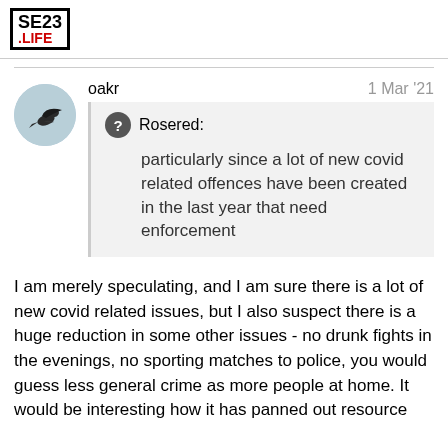SE23 .LIFE
oakr   1 Mar '21
Rosered: particularly since a lot of new covid related offences have been created in the last year that need enforcement
I am merely speculating, and I am sure there is a lot of new covid related issues, but I also suspect there is a huge reduction in some other issues - no drunk fights in the evenings, no sporting matches to police, you would guess less general crime as more people at home. It would be interesting how it has panned out resource